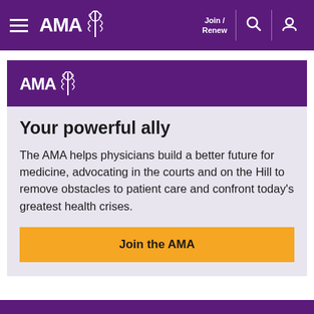AMA | Join / Renew
[Figure (logo): AMA logo with caduceus symbol on purple card header]
Your powerful ally
The AMA helps physicians build a better future for medicine, advocating in the courts and on the Hill to remove obstacles to patient care and confront today's greatest health crises.
Join the AMA